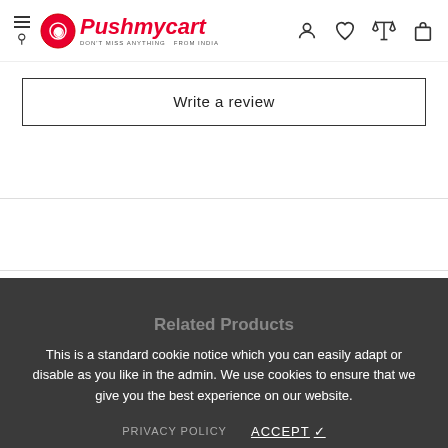Pushmycart — DON'T MISS ANYTHING FROM INDIA
Write a review
Related Products
This is a standard cookie notice which you can easily adapt or disable as you like in the admin. We use cookies to ensure that we give you the best experience on our website.
PRIVACY POLICY   ACCEPT ✓
$16.00   ADD TO CART